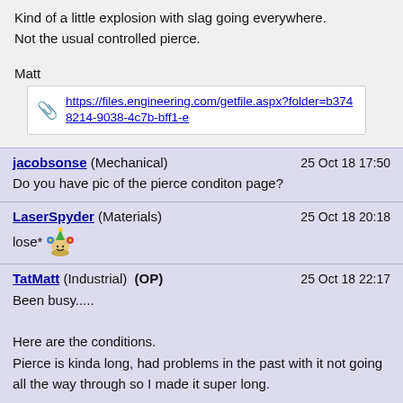Kind of a little explosion with slag going everywhere.
Not the usual controlled pierce.
Matt
https://files.engineering.com/getfile.aspx?folder=b3748214-9038-4c7b-bff1-e
jacobsonse (Mechanical)   25 Oct 18 17:50
Do you have pic of the pierce conditon page?
LaserSpyder (Materials)   25 Oct 18 20:18
lose*
TatMatt (Industrial) (OP)   25 Oct 18 22:17
Been busy.....

Here are the conditions.
Pierce is kinda long, had problems in the past with it not going all the way through so I made it super long.